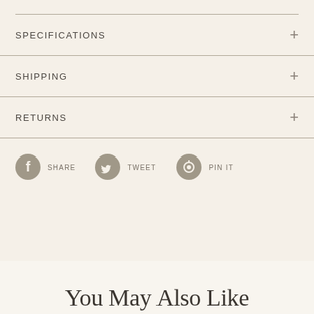SPECIFICATIONS
SHIPPING
RETURNS
SHARE   TWEET   PIN IT
You May Also Like